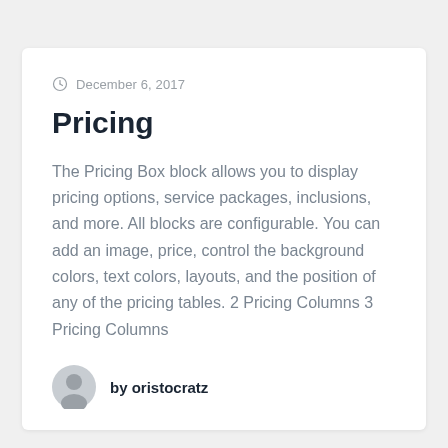December 6, 2017
Pricing
The Pricing Box block allows you to display pricing options, service packages, inclusions, and more. All blocks are configurable. You can add an image, price, control the background colors, text colors, layouts, and the position of any of the pricing tables. 2 Pricing Columns 3 Pricing Columns
by oristocratz